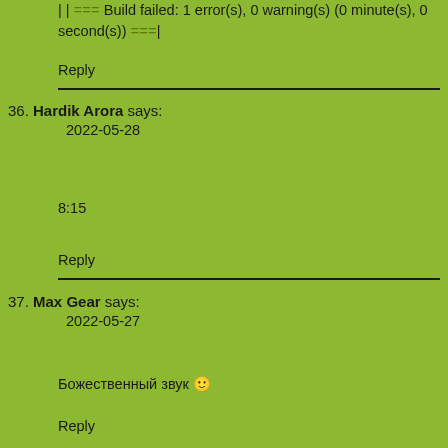| | === Build failed: 1 error(s), 0 warning(s) (0 minute(s), 0 second(s)) ===|
Reply
36. Hardik Arora says:
2022-05-28

8:15

Reply
37. Max Gear says:
2022-05-27

Божественный звук 😊

Reply